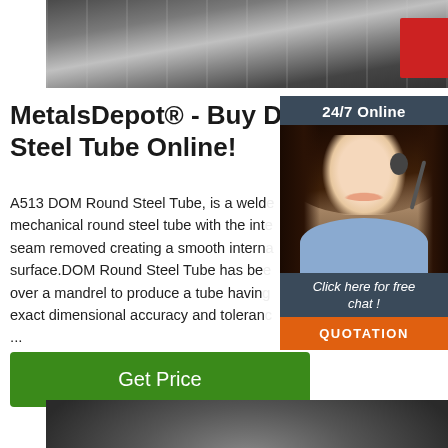[Figure (photo): Industrial steel tube manufacturing equipment, conveyor/roller system, overhead view, grayscale industrial setting with red element visible]
MetalsDepot® - Buy DOM Steel Tube Online!
A513 DOM Round Steel Tube, is a welded mechanical round steel tube with the internal seam removed creating a smooth internal surface.DOM Round Steel Tube has been drawn over a mandrel to produce a tube having exact dimensional accuracy and toleranc... ...
[Figure (photo): Chat widget showing a female customer service agent wearing a headset, with 24/7 Online header, Click here for free chat text, and QUOTATION button]
[Figure (photo): Bottom partial photo showing industrial steel tube or round steel component, dark background]